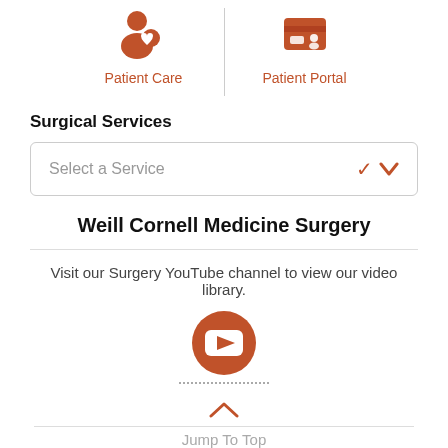[Figure (illustration): Two orange navigation icons side by side: Patient Care (person with heart) and Patient Portal (wallet/card), separated by a vertical line, with orange labels below each]
Surgical Services
[Figure (other): Dropdown selector box with placeholder text 'Select a Service' and an orange chevron/arrow on the right]
Weill Cornell Medicine Surgery
Visit our Surgery YouTube channel to view our video library.
[Figure (logo): Orange YouTube play button circle icon with dotted underline]
Jump To Top